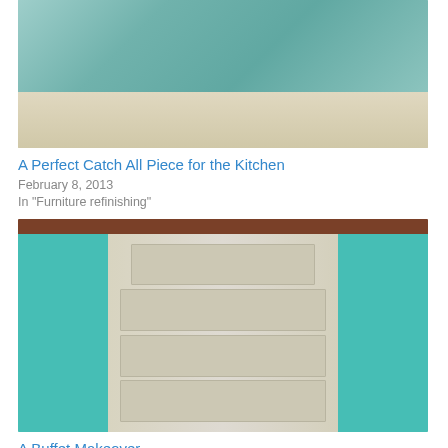[Figure (photo): Photo of a painted furniture piece - a hutch/cabinet with teal/mint painted upper doors with decorative floral hardware and cream/white distressed lower section]
A Perfect Catch All Piece for the Kitchen
February 8, 2013
In "Furniture refinishing"
[Figure (photo): Photo of a refurbished buffet/dresser with cream distressed exterior, teal/turquoise interior shelving on both sides, four drawers in the center with brass hardware, and a dark wood top]
A Buffet Makeover